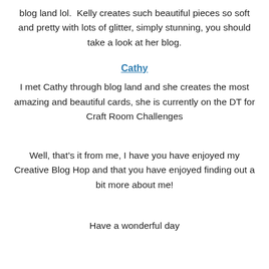blog land lol.  Kelly creates such beautiful pieces so soft and pretty with lots of glitter, simply stunning, you should take a look at her blog.
Cathy
I met Cathy through blog land and she creates the most amazing and beautiful cards, she is currently on the DT for Craft Room Challenges
Well, that’s it from me, I have you have enjoyed my Creative Blog Hop and that you have enjoyed finding out a bit more about me!
Have a wonderful day